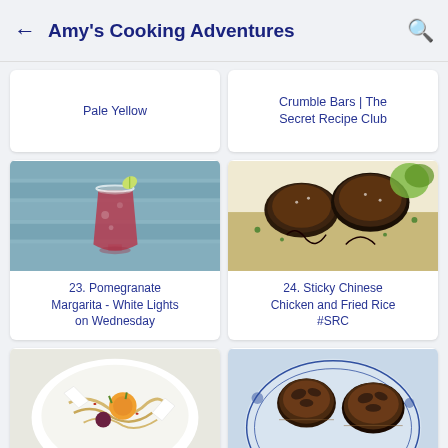Amy's Cooking Adventures
Pale Yellow
Crumble Bars | The Secret Recipe Club
[Figure (photo): Red pomegranate margarita cocktail in a glass with salted rim and lime wedge on a wooden surface]
23. Pomegranate Margarita - White Lights on Wednesday
[Figure (photo): Sticky glazed Chinese chicken pieces on a plate with fried rice]
24. Sticky Chinese Chicken and Fried Rice #SRC
[Figure (photo): Pasta salad with vegetables on a white plate]
[Figure (photo): Pecan tarts on a blue and white decorative plate]